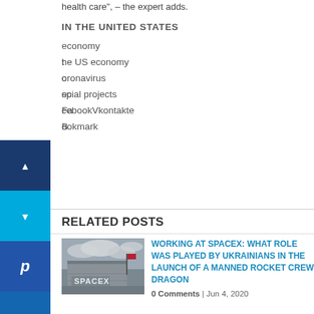health care", – the expert adds.
IN THE UNITED STATES
economy
the US economy
coronavirus
special projects
FacebookVkontakte
Bookmark
RELATED POSTS
[Figure (photo): SpaceX building exterior with SpaceX logo signage under cloudy sky]
WORKING AT SPACEX: WHAT ROLE WAS PLAYED BY UKRAINIANS IN THE LAUNCH OF A MANNED ROCKET CREW DRAGON
0 Comments | Jun 4, 2020